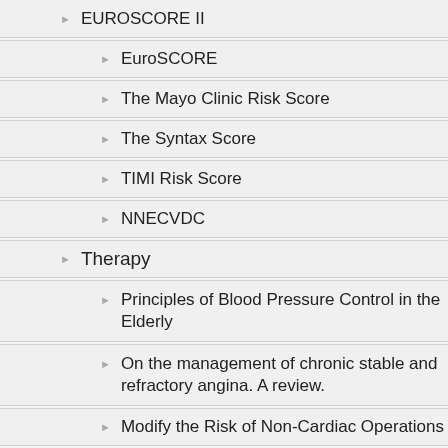EUROSCORE II
EuroSCORE
The Mayo Clinic Risk Score
The Syntax Score
TIMI Risk Score
NNECVDC
Therapy
Principles of Blood Pressure Control in the Elderly
On the management of chronic stable and refractory angina. A review.
Modify the Risk of Non-Cardiac Operations